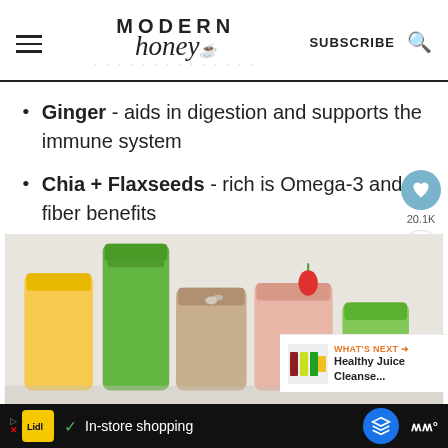Modern Honey — SUBSCRIBE
Ginger - aids in digestion and supports the immune system
Chia + Flaxseeds - rich is Omega-3 and fiber benefits
[Figure (photo): Five smoothie glasses in yellow, green, chocolate, pink, and green arranged on a white surface with strawberry and herbs garnish]
WHAT'S NEXT → Healthy Juice Cleanse...
✓ In-store shopping